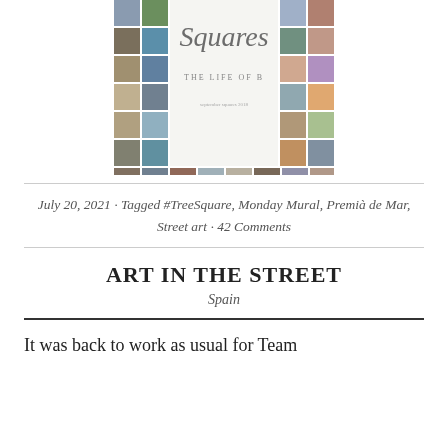[Figure (illustration): Book cover for 'Squares – The Life of B', featuring a grid of small square photographs of various outdoor scenes and street art, with the title 'Squares' in large serif italic text and subtitle 'THE LIFE OF B' below it.]
July 20, 2021 · Tagged #TreeSquare, Monday Mural, Premià de Mar, Street art · 42 Comments
ART IN THE STREET
Spain
It was back to work as usual for Team